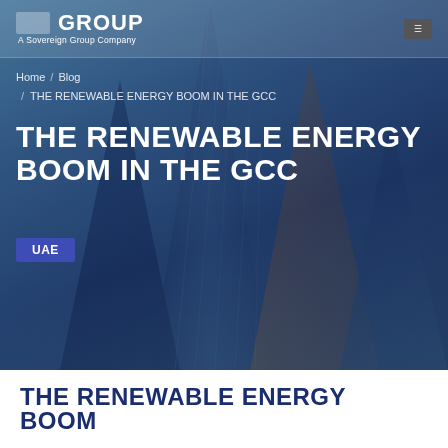[Figure (photo): Hero image of glass skyscraper buildings seen from below against a blue sky, with dark blue overlay. Shows navigation breadcrumb, bold article title 'THE RENEWABLE ENERGY BOOM IN THE GCC', and a 'UAE' category badge.]
ICG GROUP — A Sovereign Group Company
Home / Blog / THE RENEWABLE ENERGY BOOM IN THE GCC
THE RENEWABLE ENERGY BOOM IN THE GCC
UAE
THE RENEWABLE ENERGY BOOM